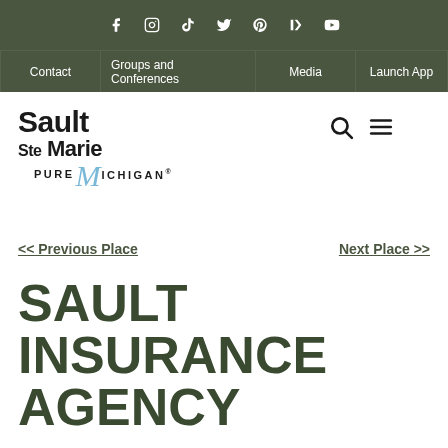Social media icons: Facebook, Instagram, TikTok, Twitter, Pinterest, Bloglovin, YouTube
Contact | Groups and Conferences | Media | Launch App
[Figure (logo): Sault Ste Marie Pure Michigan logo with stylized blue M]
<< Previous Place
Next Place >>
SAULT INSURANCE AGENCY